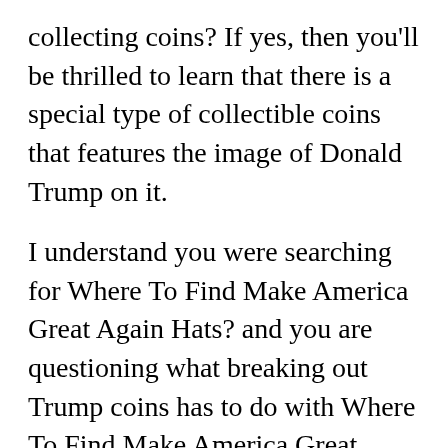collecting coins? If yes, then you'll be thrilled to learn that there is a special type of collectible coins that features the image of Donald Trump on it.
I understand you were searching for Where To Find Make America Great Again Hats? and you are questioning what breaking out Trump coins has to do with Where To Find Make America Great Again Hats?. Terrific concern! And honestly, I believe that if you are searching for info on Where To Find Make America Great Again Hats?, after that you would like to obtain a free collectible Trump coin for yourself or get a couple of as a gift for a close friend or member of the family